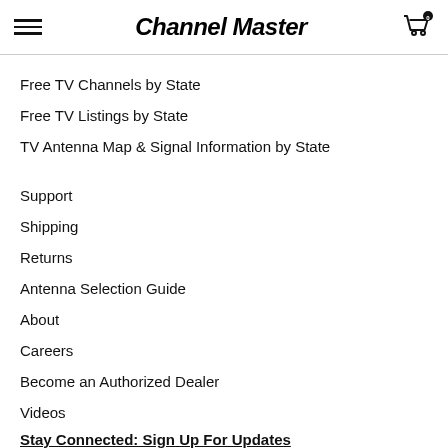Channel Master
Free TV Channels by State
Free TV Listings by State
TV Antenna Map & Signal Information by State
Support
Shipping
Returns
Antenna Selection Guide
About
Careers
Become an Authorized Dealer
Videos
Stay Connected: Sign Up For Updates